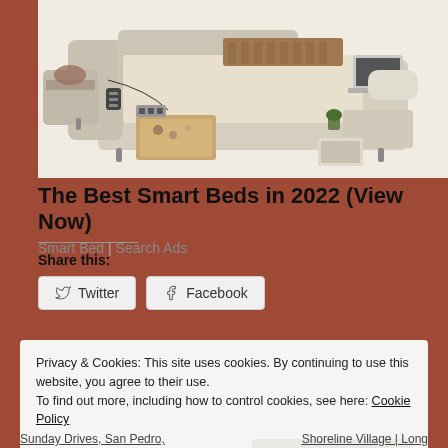[Figure (photo): A modern smart bed with cream/beige leather upholstery, storage drawers open revealing items, side table with drawers, and various built-in features including USB ports and massage elements.]
The Best Smart Beds in 2022 (View Now)
Smart Bed | Search Ads
Share this:
Twitter
Facebook
Privacy & Cookies: This site uses cookies. By continuing to use this website, you agree to their use.
To find out more, including how to control cookies, see here: Cookie Policy
Close and accept
Sunday Drives, San Pedro,    Shoreline Village | Long
Cove, M...                      Be...